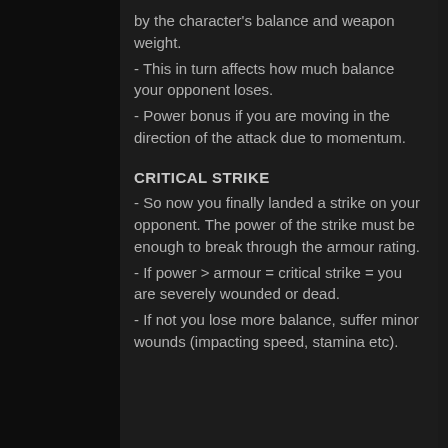by the character's balance and weapon weight.
- This in turn affects how much balance your opponent loses.
- Power bonus if you are moving in the direction of the attack due to momentum.
CRITICAL STRIKE
- So now you finally landed a strike on your opponent. The power of the strike must be enough to break through the armour rating.
- If power > armour = critical strike = you are severely wounded or dead.
- If not you lose more balance, suffer minor wounds (impacting speed, stamina etc).